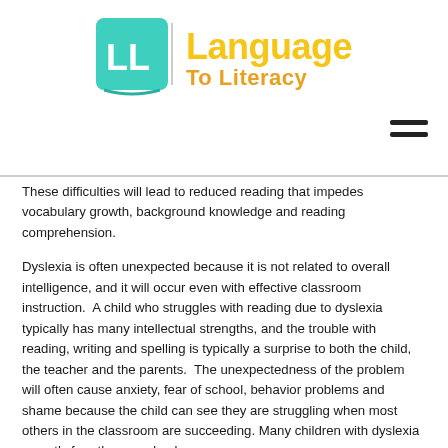Language To Literacy
These difficulties will lead to reduced reading that impedes vocabulary growth, background knowledge and reading comprehension.
Dyslexia is often unexpected because it is not related to overall intelligence, and it will occur even with effective classroom instruction.  A child who struggles with reading due to dyslexia typically has many intellectual strengths, and the trouble with reading, writing and spelling is typically a surprise to both the child, the teacher and the parents.  The unexpectedness of the problem will often cause anxiety, fear of school, behavior problems and shame because the child can see they are struggling when most others in the classroom are succeeding.  Many children with dyslexia secretly fear they are dumb.
A child with dyslexia, will not progress past a third-to-fifth grade reading level without intervention.  It will be painful for the child to read, and dyslexia will